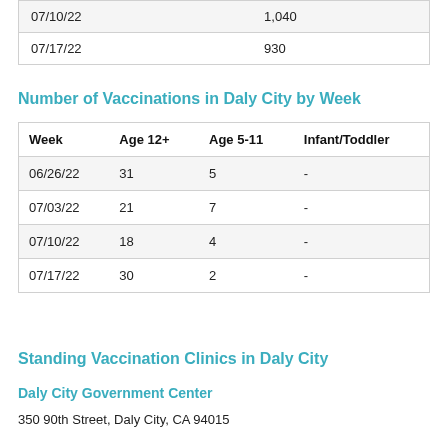| Week |  |
| --- | --- |
| 07/10/22 | 1,040 |
| 07/17/22 | 930 |
Number of Vaccinations in Daly City by Week
| Week | Age 12+ | Age 5-11 | Infant/Toddler |
| --- | --- | --- | --- |
| 06/26/22 | 31 | 5 | - |
| 07/03/22 | 21 | 7 | - |
| 07/10/22 | 18 | 4 | - |
| 07/17/22 | 30 | 2 | - |
Standing Vaccination Clinics in Daly City
Daly City Government Center
350 90th Street, Daly City, CA 94015